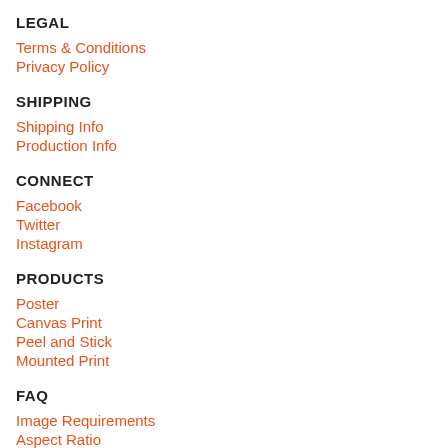LEGAL
Terms & Conditions
Privacy Policy
SHIPPING
Shipping Info
Production Info
CONNECT
Facebook
Twitter
Instagram
PRODUCTS
Poster
Canvas Print
Peel and Stick
Mounted Print
FAQ
Image Requirements
Aspect Ratio